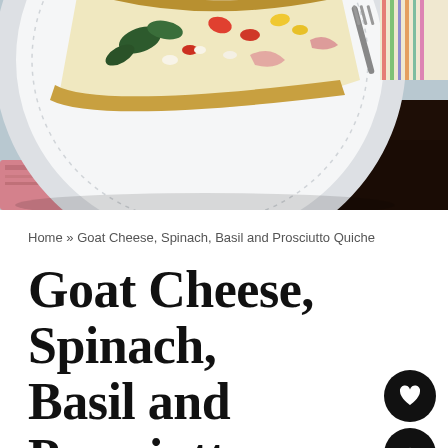[Figure (photo): Food photography showing a slice of quiche on a white decorative plate with dotted rim, garnished with spinach and colorful vegetables, with a fork visible, placed on a dark wooden table with a pink cloth napkin]
Home » Goat Cheese, Spinach, Basil and Prosciutto Quiche
Goat Cheese, Spinach, Basil and Prosciutto Quiche